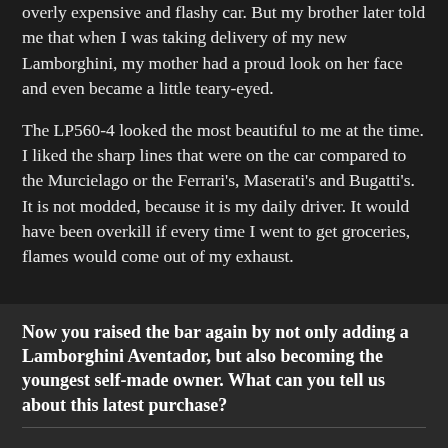overly expensive and flashy car. But my brother later told me that when I was taking delivery of my new Lamborghini, my mother had a proud look on her face and even became a little teary-eyed.
The LP560-4 looked the most beautiful to me at the time. I liked the sharp lines that were on the car compared to the Murcielago or the Ferrari's, Maserati's and Bugatti's. It is not modded, because it is my daily driver. It would have been overkill if every time I went to get groceries, flames would come out of my exhaust.
Now you raised the bar again by not only adding a Lamborghini Aventador, but also becoming the youngest self-made owner. What can you tell us about this latest purchase?
The build date for the car is June 2012. It will be one of the first 2013 models to hit the shores of the U.S. The wait period was over a year. Currently, I have all the options